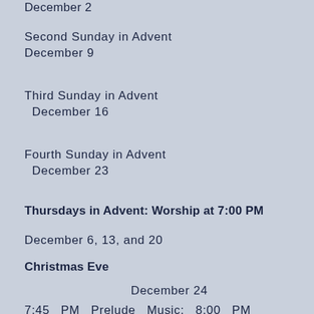December 2
Second Sunday in Advent
December 9
Third Sunday in Advent
December 16
Fourth Sunday in Advent
December 23
Thursdays in Advent: Worship at 7:00 PM
December 6, 13, and 20
Christmas Eve
December 24
7:45 PM Prelude Music: 8:00 PM